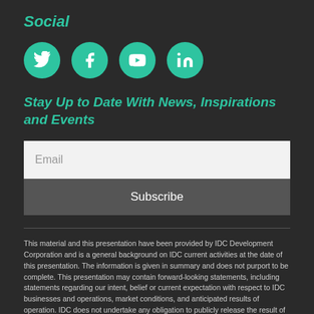Social
[Figure (illustration): Four circular teal social media icons: Twitter (bird), Facebook (f), YouTube (play button), LinkedIn (in)]
Stay Up to Date With News, Inspirations and Events
Email
Subscribe
This material and this presentation have been provided by IDC Development Corporation and is a general background on IDC current activities at the date of this presentation. The information is given in summary and does not purport to be complete. This presentation may contain forward-looking statements, including statements regarding our intent, belief or current expectation with respect to IDC businesses and operations, market conditions, and anticipated results of operation. IDC does not undertake any obligation to publicly release the result of any revisions to these forward-looking